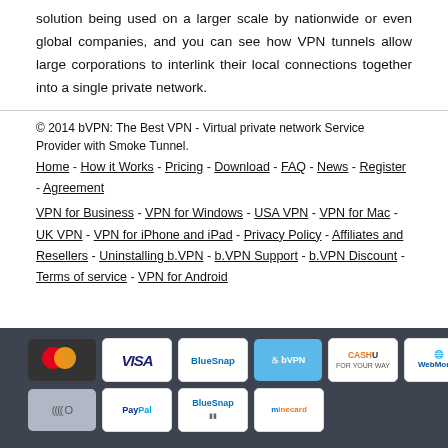solution being used on a larger scale by nationwide or even global companies, and you can see how VPN tunnels allow large corporations to interlink their local connections together into a single private network.
© 2014 bVPN: The Best VPN - Virtual private network Service Provider with Smoke Tunnel.
Home - How it Works - Pricing - Download - FAQ - News - Register - Agreement
VPN for Business - VPN for Windows - USA VPN - VPN for Mac - UK VPN - VPN for iPhone and iPad - Privacy Policy - Affiliates and Resellers - Uninstalling b.VPN - b.VPN Support - b.VPN Discount - Terms of service - VPN for Android
[Figure (other): Row of payment method logos: MasterCard, VISA, BlueSnap, bVPN, CashU, WebMoney, Western Union (top row); Echo, PayPal, BlueSnap, minecard (bottom row)]